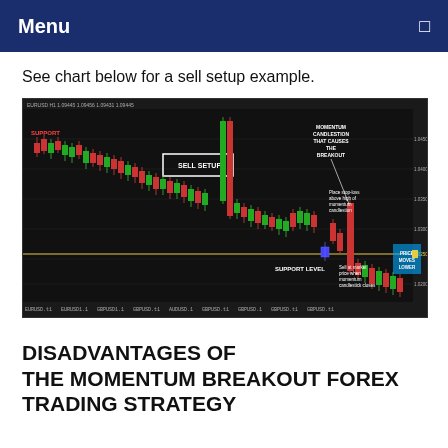Menu
See chart below for a sell setup example.
[Figure (screenshot): Forex candlestick chart showing a sell setup with annotations: 'SELL SETUP' box, 'SUPPORT LEVEL' label, 'MOMENTUM CANDLESTION THAT CAUSES THE BREAKOUT' arrow, 'Place stop-loss above high of momentum candlestion', 'Sell at market price when momentum candlestick closes', 'PRICE MOVES LOWER' label. Chart shows EUR/USD price action with red and green candlesticks on dark background.]
DISADVANTAGES OF THE MOMENTUM BREAKOUT FOREX TRADING STRATEGY